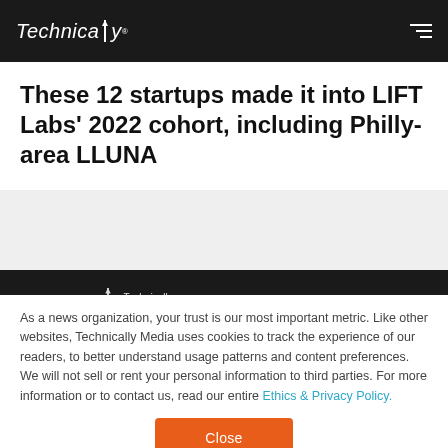Technically
These 12 startups made it into LIFT Labs' 2022 cohort, including Philly-area LLUNA
[Figure (illustration): Gray band placeholder area below title]
[Figure (illustration): Dark footer band with small Technically logo and social media icons]
As a news organization, your trust is our most important metric. Like other websites, Technically Media uses cookies to track the experience of our readers, to better understand usage patterns and content preferences. We will not sell or rent your personal information to third parties. For more information or to contact us, read our entire Ethics & Privacy Policy.
Close